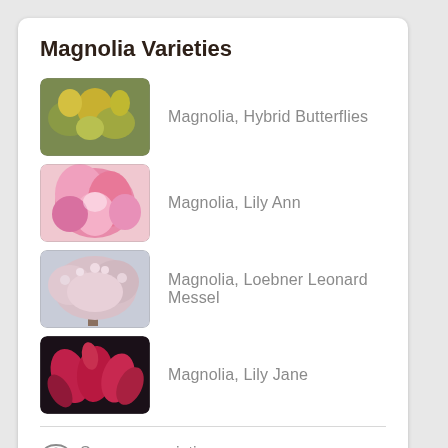Magnolia Varieties
Magnolia, Hybrid Butterflies
Magnolia, Lily Ann
Magnolia, Loebner Leonard Messel
Magnolia, Lily Jane
See more varieties...